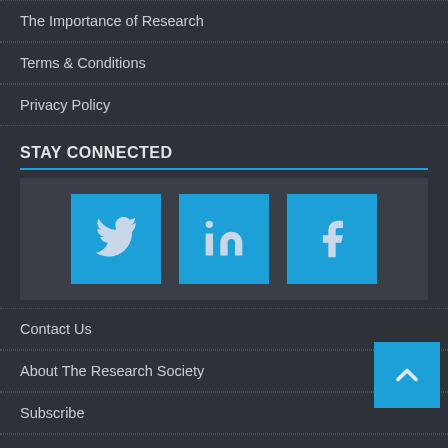The Importance of Research
Terms & Conditions
Privacy Policy
STAY CONNECTED
[Figure (infographic): Social media icons: Twitter, LinkedIn, Facebook — each as a blue square button]
Contact Us
About The Research Society
Subscribe
Advertise with Us
Terms & Conditions
Privacy Policy